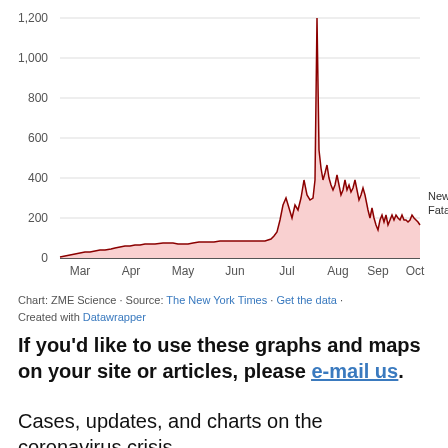[Figure (area-chart): New Fatalities]
Chart: ZME Science · Source: The New York Times · Get the data · Created with Datawrapper
If you'd like to use these graphs and maps on your site or articles, please e-mail us.
Cases, updates, and charts on the coronavirus crisis